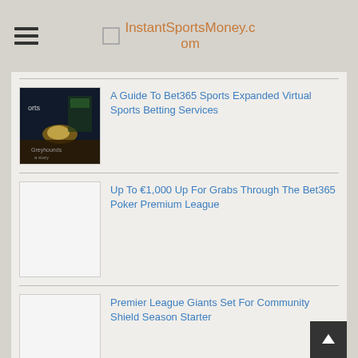InstantSportsMoney.com
A Guide To Bet365 Sports Expanded Virtual Sports Betting Services
Up To €1,000 Up For Grabs Through The Bet365 Poker Premium League
Premier League Giants Set For Community Shield Season Starter